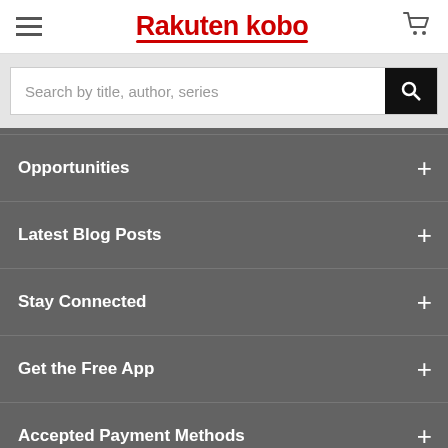Rakuten kobo
Search by title, author, series
Opportunities
Latest Blog Posts
Stay Connected
Get the Free App
Accepted Payment Methods